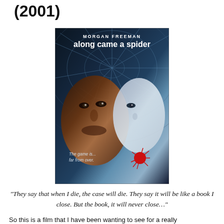(2001)
[Figure (photo): Movie poster for 'Along Came a Spider' (2001) featuring Morgan Freeman. Dark blue tones with a spider web overlaid on two faces — an older man on the left and a woman on the right. Text reads 'MORGAN FREEMAN along came a spider' and tagline 'The game is far from over.' with a red spider graphic.]
“They say that when I die, the case will die. They say it will be like a book I close. But the book, it will never close…”
So this is a film that I have been wanting to see for a really